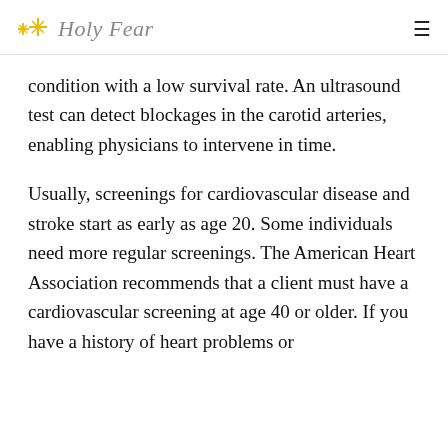Holy Fear
condition with a low survival rate. An ultrasound test can detect blockages in the carotid arteries, enabling physicians to intervene in time.
Usually, screenings for cardiovascular disease and stroke start as early as age 20. Some individuals need more regular screenings. The American Heart Association recommends that a client must have a cardiovascular screening at age 40 or older. If you have a history of heart problems or